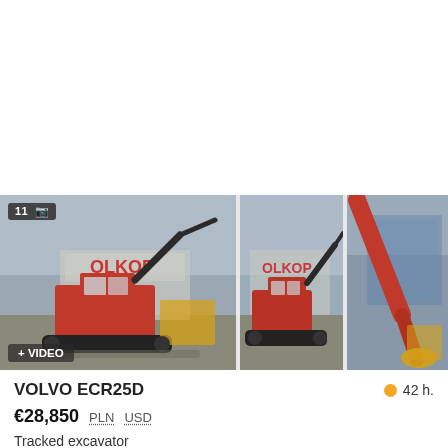[Figure (photo): Three photos of a Volvo ECR25D tracked excavator parked in a dealership lot (OLKOP). Main large photo on left shows red mini excavator with badge '11 📷' and '+ VIDEO' overlay. Two smaller thumbnail photos to the right show the same excavator from similar angles.]
VOLVO ECR25D
42 h.
€28,850  PLN  USD
Tracked excavator